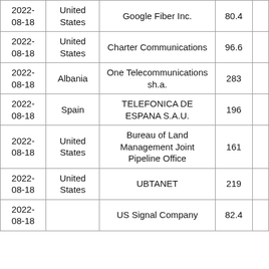| Date | Country | Organization | Value |  |
| --- | --- | --- | --- | --- |
| 2022-08-18 | United States | Google Fiber Inc. | 80.4 |  |
| 2022-08-18 | United States | Charter Communications | 96.6 |  |
| 2022-08-18 | Albania | One Telecommunications sh.a. | 283 |  |
| 2022-08-18 | Spain | TELEFONICA DE ESPANA S.A.U. | 196 |  |
| 2022-08-18 | United States | Bureau of Land Management Joint Pipeline Office | 161 |  |
| 2022-08-18 | United States | UBTANET | 219 |  |
| 2022-08-18 |  | US Signal Company | 82.4 |  |